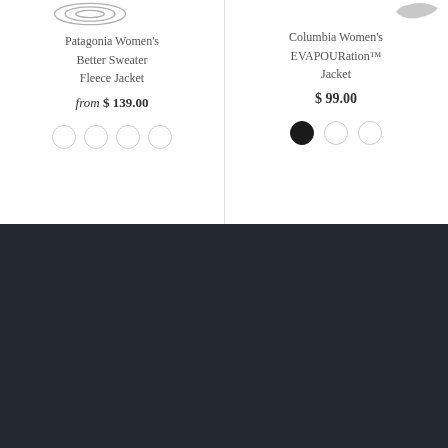Patagonia Women's Better Sweater Fleece Jacket
from $ 139.00
Columbia Women's EVAPOURation™ Jacket
$ 99.00
FOLLOW
SEARCH
ABOUT US